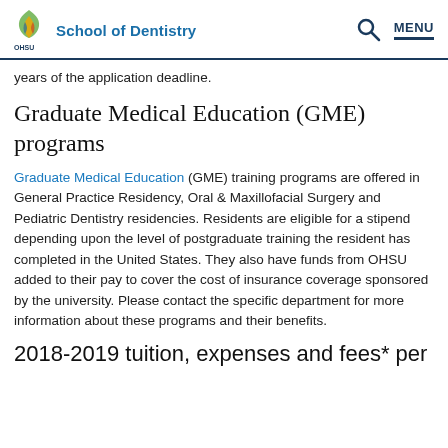School of Dentistry
years of the application deadline.
Graduate Medical Education (GME) programs
Graduate Medical Education (GME) training programs are offered in General Practice Residency, Oral & Maxillofacial Surgery and Pediatric Dentistry residencies. Residents are eligible for a stipend depending upon the level of postgraduate training the resident has completed in the United States. They also have funds from OHSU added to their pay to cover the cost of insurance coverage sponsored by the university. Please contact the specific department for more information about these programs and their benefits.
2018-2019 tuition, expenses and fees* per